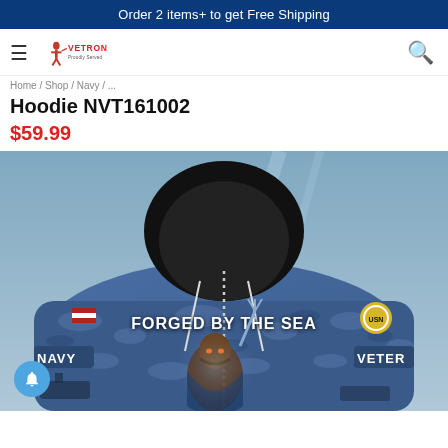Order 2 items+ to get Free Shipping
[Figure (logo): Vetron brand logo with a soldier silhouette and text VETRON]
Hoodie NVT161002
$59.99
[Figure (photo): Product photo of a Navy veteran hoodie with blue digital camouflage pattern, text 'FORGED BY THE SEA', 'NAVY', 'VETER' visible, with a fantasy warrior figure on the front design.]